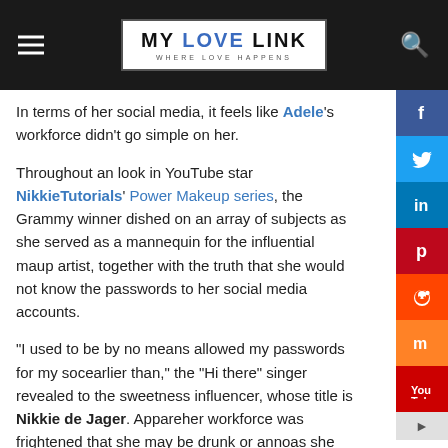MY LOVE LINK — WHERE LOVE HAPPENS
In terms of her social media, it feels like Adele's workforce didn't go simple on her.
Throughout an look in YouTube star NikkieTutorials' Power Makeup series, the Grammy winner dished on an array of subjects as she served as a mannequin for the influential make up artist, together with the truth that she would not know the passwords to her social media accounts.
"I used to be by no means allowed my passwords for my social media earlier than," the "Hi there" singer revealed to the sweetness influencer, whose title is Nikkie de Jager. Apparently, her workforce was frightened that she may be drunk or annoyed as she posted her ideas. Nonetheless, that modified when Adele obtained her log-in information through the coronavirus pandemic.